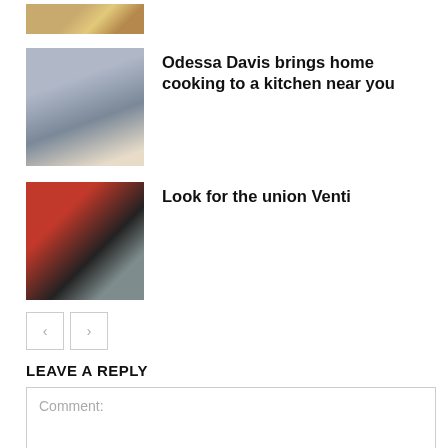[Figure (photo): Partial cropped food/breakfast photo at top of page]
[Figure (photo): Photo of chef (Odessa Davis) wearing black hat]
Odessa Davis brings home cooking to a kitchen near you
[Figure (photo): Photo of union rally/protest with red signs]
Look for the union Venti
LEAVE A REPLY
Comment: